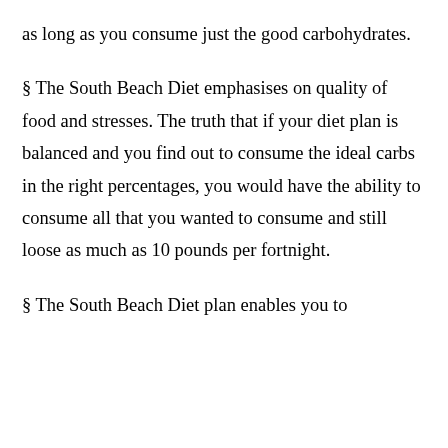as long as you consume just the good carbohydrates.
§ The South Beach Diet emphasises on quality of food and stresses. The truth that if your diet plan is balanced and you find out to consume the ideal carbs in the right percentages, you would have the ability to consume all that you wanted to consume and still loose as much as 10 pounds per fortnight.
§ The South Beach Diet plan enables you to